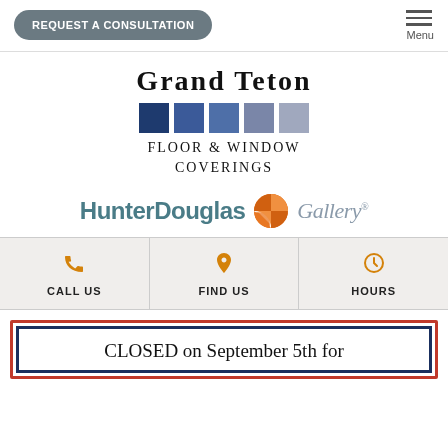REQUEST A CONSULTATION | Menu
[Figure (logo): Grand Teton Floor & Window Coverings logo with colored squares]
[Figure (logo): HunterDouglas Gallery logo with orange circular icon]
CALL US | FIND US | HOURS
CLOSED on September 5th for